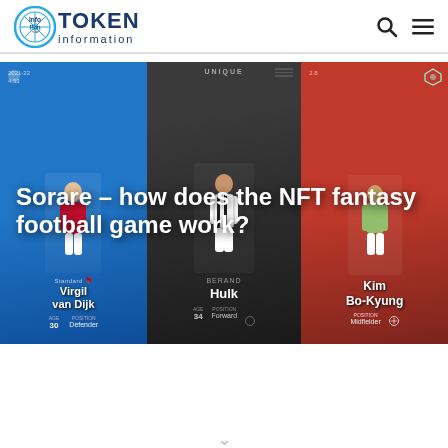InfoPort TOKEN information
[Figure (photo): Sorare NFT fantasy football game promotional image showing three player cards: Virgil van Dijk (blue Liverpool card), Hulk (dark card, Forward), and Kim Bo-Kyung (red card, Midfielder). Text overlay reads: Sorare – how does the NFT fantasy football game work?]
Sorare – how does the NFT fantasy football game work?